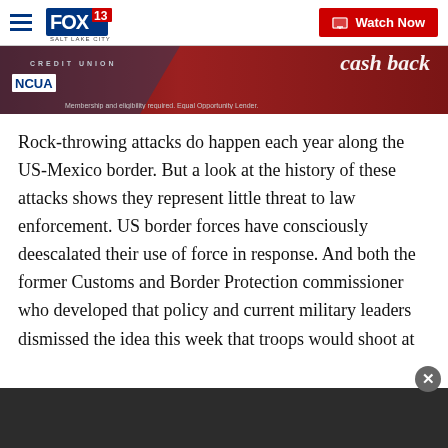FOX 13 Salt Lake City — Watch Now
[Figure (screenshot): Advertisement banner with NCUA logo, red background, 'cash back' text, and 'Membership and eligibility required. Equal Opportunity Lender.']
Rock-throwing attacks do happen each year along the US-Mexico border. But a look at the history of these attacks shows they represent little threat to law enforcement. US border forces have consciously deescalated their use of force in response. And both the former Customs and Border Protection commissioner who developed that policy and current military leaders dismissed the idea this week that troops would shoot at